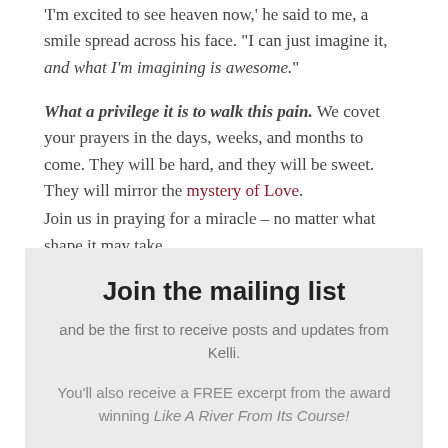'I'm excited to see heaven now,' he said to me, a smile spread across his face. 'I can just imagine it, and what I'm imagining is awesome.'
What a privilege it is to walk this pain. We covet your prayers in the days, weeks, and months to come. They will be hard, and they will be sweet. They will mirror the mystery of Love.
Join us in praying for a miracle – no matter what shape it may take.
Join the mailing list
and be the first to receive posts and updates from Kelli.
You'll also receive a FREE excerpt from the award winning Like A River From Its Course!